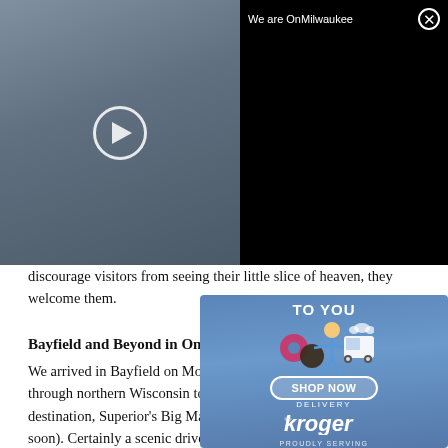[Figure (screenshot): Video overlay showing group photo of people in an office/gathering space with a play button in center. Black panel on right reads 'We are OnMilwaukee' with close (X) button.]
discourage visitors from seeing their little slice of heaven, they welcome them.
Bayfield and Beyond in Only Two Days
We arrived in Bayfield on Monday night, taking a circuitous route through northern Wisconsin to visit another "Wisconsin Wonder" destination, Superior's Big Manitou Falls (that article is coming soon). Certainly a scenic drive, it took us close to 11 hours before we checked in at the beautiful Rittenhouse Inn, one of the city's most stately old
[Figure (advertisement): Kroger Delivery advertisement overlay with blue background, cartoon characters, 'TO YOU' text, 'SHOP NOW' button, Kroger Delivery logo, 'PROUDLY SERVING' text, and 'metro market' / 'PICK N SAVE' branding at bottom.]